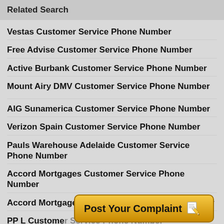Related Search
Vestas Customer Service Phone Number
Free Advise Customer Service Phone Number
Active Burbank Customer Service Phone Number
Mount Airy DMV Customer Service Phone Number
AIG Sunamerica Customer Service Phone Number
Verizon Spain Customer Service Phone Number
Pauls Warehouse Adelaide Customer Service Phone Number
Accord Mortgages Customer Service Phone Number
Accord Mortgage Customer Service Phone Number
PP L Customer Service Phone Number
[Figure (screenshot): Post Your Complaint button with pencil/paper icon]